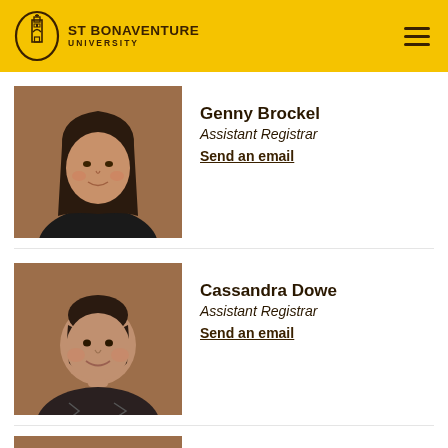St Bonaventure University
[Figure (photo): Headshot photo of Genny Brockel, a woman with long dark hair, wearing a black top, brown studio background]
Genny Brockel
Assistant Registrar
Send an email
[Figure (photo): Headshot photo of Cassandra Dowe, a woman with dark hair pulled back, wearing a patterned top, brown studio background]
Cassandra Dowe
Assistant Registrar
Send an email
[Figure (photo): Partial headshot photo of a third person, partially visible at bottom of page]